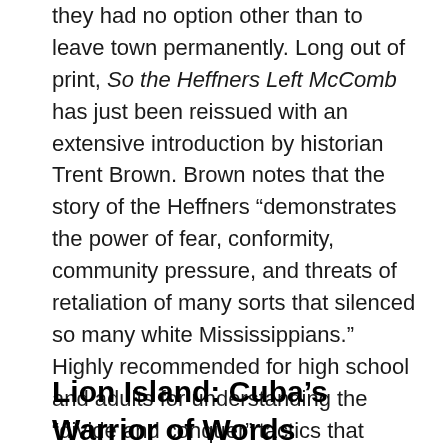they had no option other than to leave town permanently. Long out of print, So the Heffners Left McComb has just been reissued with an extensive introduction by historian Trent Brown. Brown notes that the story of the Heffners “demonstrates the power of fear, conformity, community pressure, and threats of retaliation of many sorts that silenced so many white Mississippians.” Highly recommended for high school and adults for understanding the “divide and conquer” tactics that continue today.
Lion Island: Cuba’s Warrior of Words